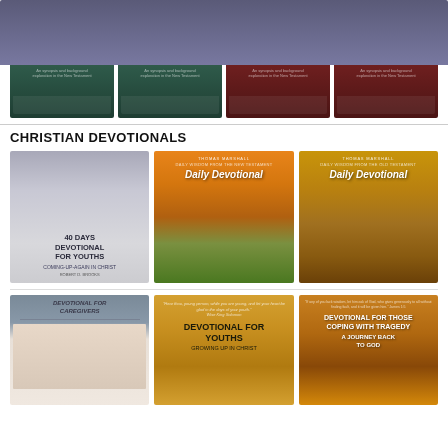[Figure (illustration): Row of four Bible study book covers: Book of Philippians (teal), Book of James (teal), Book of Proverbs (red), Book of Esther (red)]
CHRISTIAN DEVOTIONALS
[Figure (illustration): Three devotional book covers: 40 Days Devotional for Youths (Coming-Up-Again in Christ), Daily Devotional (Daily Wisdom from the New Testament) by Thomas Marshall, Daily Devotional (Daily Wisdom from the Old Testament) by Thomas Marshall]
[Figure (illustration): Three devotional book covers: Devotional for Caregivers, Devotional for Youths (Growing Up In Christ), Devotional for Those Coping with Tragedy (A Journey Back to God)]